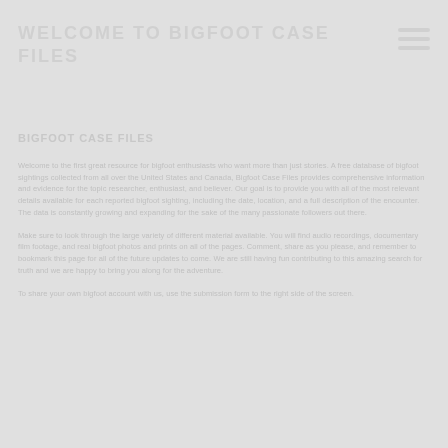WELCOME TO BIGFOOT CASE FILES
BIGFOOT CASE FILES
Welcome to the first great resource for bigfoot enthusiasts who want more than just stories. A free database of bigfoot sightings collected from all over the United States and Canada, Bigfoot Case Files provides comprehensive information and evidence for the topic researcher, enthusiast, and believer. Our goal is to provide you with all of the most relevant details available for each reported bigfoot sighting, including the date, location, and a full description of the encounter. The data is constantly growing and expanding for the sake of the many passionate followers out there.

Make sure to look through the large variety of different material available. You will find audio recordings, documentary film footage, and real bigfoot photos and prints on all of the pages. Comment, share as you please, and remember to bookmark this page for all of the future updates to come. We are still having fun contributing to this amazing search for truth and we are happy to bring you along for the adventure.

To share your own bigfoot account with us, use the submission form to the right side of the screen.